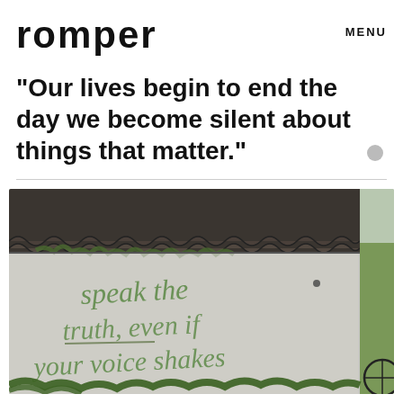romper   MENU
"Our lives begin to end the day we become silent about things that matter."
[Figure (photo): Photograph of a white painted brick wall with green graffiti text reading 'speak the truth, even if your voice shakes'. Above is a tiled roof. A green field and bicycle are partially visible on the right side.]